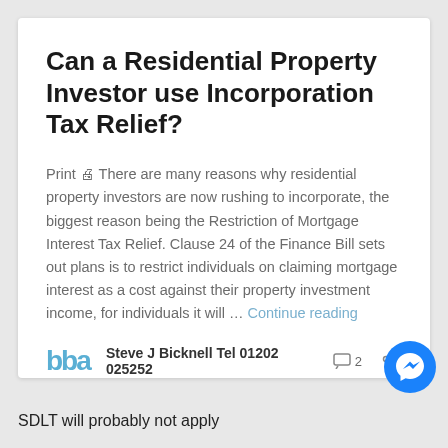Can a Residential Property Investor use Incorporation Tax Relief?
Print 🖨 There are many reasons why residential property investors are now rushing to incorporate, the biggest reason being the Restriction of Mortgage Interest Tax Relief. Clause 24 of the Finance Bill sets out plans is to restrict individuals on claiming mortgage interest as a cost against their property investment income, for individuals it will … Continue reading
Steve J Bicknell Tel 01202 025252  💬 2  🔗
SDLT will probably not apply